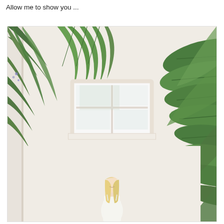Allow me to show you ...
[Figure (photo): A blonde woman in a white dress standing in front of a white stucco wall with large tropical plants (palm fronds and banana leaves) flanking the sides and a white-framed window behind her.]